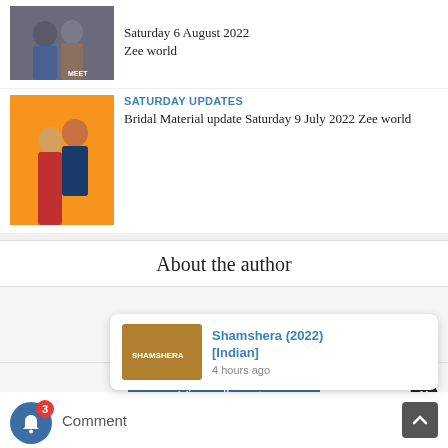[Figure (photo): Photo of two people, with MEET label in corner, dark background]
Saturday 6 August 2022
Zee world
SATURDAY UPDATES
[Figure (photo): Photo of two people on orange background]
Bridal Material update Saturday 9 July 2022 Zee world
About the author
Tellylover
View all posts
[Figure (photo): Shamshera 2022 movie poster thumbnail]
Shamshera (2022) [Indian]
4 hours ago
Comment